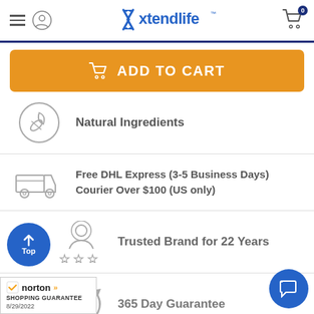[Figure (screenshot): Xtendlife website header with hamburger menu, user icon, Xtendlife logo, and cart icon with 0 badge]
[Figure (screenshot): Orange 'Add to Cart' button with cart icon]
[Figure (illustration): Natural Ingredients icon: circular icon with leaf and capsule pill, with text 'Natural Ingredients']
[Figure (illustration): Shipping truck icon with text 'Free DHL Express (3-5 Business Days) Courier Over $100 (US only)']
[Figure (illustration): Trusted Brand person with stars icon and text 'Trusted Brand for 22 Years']
[Figure (illustration): 365 Day Guarantee circular arrows with dollar sign icon and text '365 Day Guarantee']
[Figure (illustration): Norton Shopping Guarantee badge dated 8/29/2022]
[Figure (illustration): Blue circular 'Top' scroll-to-top button with upward arrow]
[Figure (illustration): Blue circular chat button with speech bubble icon]